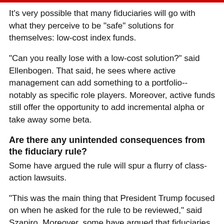It's very possible that many fiduciaries will go with what they perceive to be "safe" solutions for themselves: low-cost index funds.
"Can you really lose with a low-cost solution?" said Ellenbogen. That said, he sees where active management can add something to a portfolio--notably as specific role players. Moreover, active funds still offer the opportunity to add incremental alpha or take away some beta.
Are there any unintended consequences from the fiduciary rule?
Some have argued the rule will spur a flurry of class-action lawsuits.
"This was the main thing that President Trump focused on when he asked for the rule to be reviewed," said Szapiro. Moreover, some have argued that fiduciaries, which